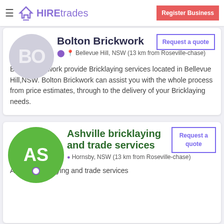HIREtrades — Register Business
Bolton Brickwork
Bellevue Hill, NSW (13 km from Roseville-chase)
Bolton Brickwork provide Bricklaying services located in Bellevue Hill,NSW. Bolton Brickwork can assist you with the whole process from price estimates, through to the delivery of your Bricklaying needs.
Ashville bricklaying and trade services
Hornsby, NSW (13 km from Roseville-chase)
Ashville bricklaying and trade services